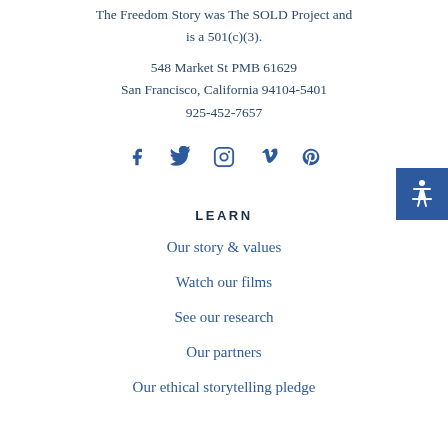The Freedom Story was The SOLD Project and is a 501(c)(3).
548 Market St PMB 61629
San Francisco, California 94104-5401
925-452-7657
[Figure (infographic): Social media icons: Facebook, Twitter, Instagram, Vimeo, Pinterest in blue]
LEARN
Our story & values
Watch our films
See our research
Our partners
Our ethical storytelling pledge